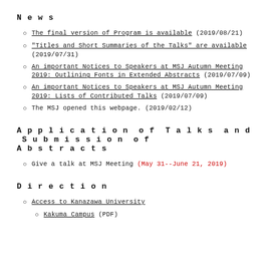News
The final version of Program is available (2019/08/21)
"Titles and Short Summaries of the Talks" are available (2019/07/31)
An important Notices to Speakers at MSJ Autumn Meeting 2019: Outlining Fonts in Extended Abstracts (2019/07/09)
An important Notices to Speakers at MSJ Autumn Meeting 2019: Lists of Contributed Talks (2019/07/09)
The MSJ opened this webpage. (2019/02/12)
Application of Talks and Submission of Abstracts
Give a talk at MSJ Meeting (May 31--June 21, 2019)
Direction
Access to Kanazawa University
Kakuma Campus (PDF)